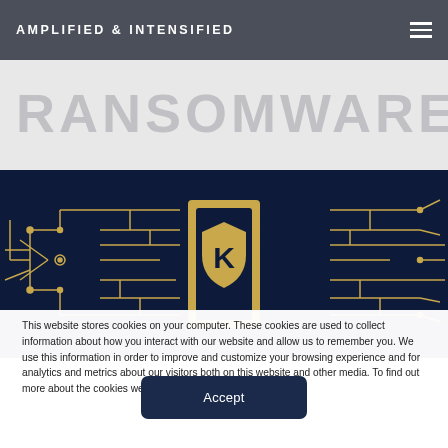AMPLIFIED & INTENSIFIED
RANSOMWARE
[Figure (illustration): Dark navy background with gold circuit board traces and a central CPU chip featuring a shield with letter K logo, representing cybersecurity / ransomware topic illustration]
This website stores cookies on your computer. These cookies are used to collect information about how you interact with our website and allow us to remember you. We use this information in order to improve and customize your browsing experience and for analytics and metrics about our visitors both on this website and other media. To find out more about the cookies we use, see our Privacy Policy
Accept